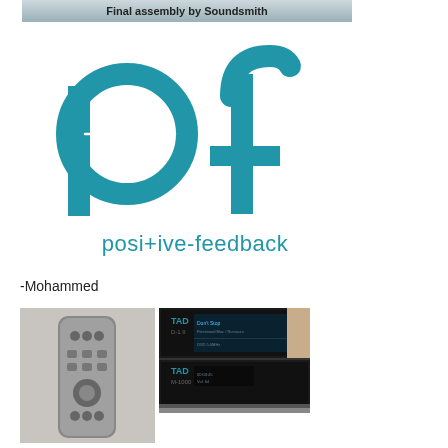[Figure (illustration): Banner image with text 'Final assembly by Soundsmith' on a grey/blue gradient background]
[Figure (logo): Positive Feedback logo — teal 'pf' letters with a waveform circle in the 'p', and text 'posi+ive-feedback' below]
-Mohammed
[Figure (photo): Photo of a slim silver/grey remote control against a light grey background]
[Figure (photo): Photo of black TAD audio equipment (two stacked units) with display screens showing text]